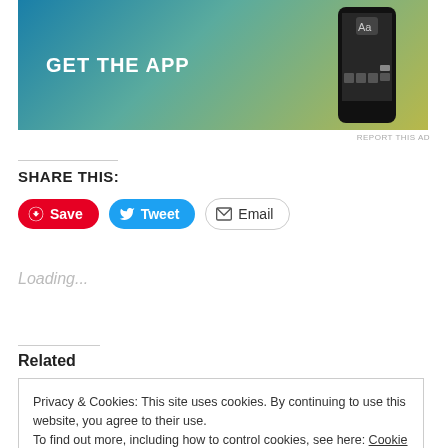[Figure (illustration): App advertisement banner with blue-green-yellow gradient, text 'GET THE APP' and a phone mockup on the right]
REPORT THIS AD
SHARE THIS:
Save | Tweet | Email (share buttons)
Loading...
Related
Privacy & Cookies: This site uses cookies. By continuing to use this website, you agree to their use.
To find out more, including how to control cookies, see here: Cookie Policy
Close and accept